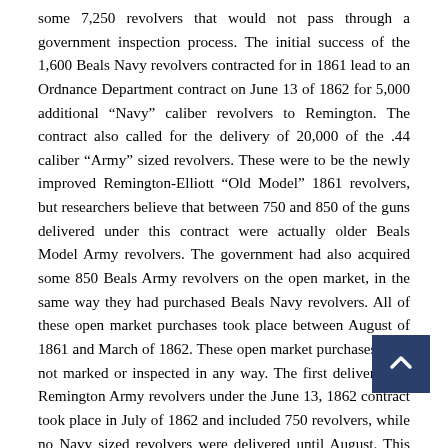some 7,250 revolvers that would not pass through a government inspection process. The initial success of the 1,600 Beals Navy revolvers contracted for in 1861 lead to an Ordnance Department contract on June 13 of 1862 for 5,000 additional “Navy” caliber revolvers to Remington. The contract also called for the delivery of 20,000 of the .44 caliber “Army” sized revolvers. These were to be the newly improved Remington-Elliott “Old Model” 1861 revolvers, but researchers believe that between 750 and 850 of the guns delivered under this contract were actually older Beals Model Army revolvers. The government had also acquired some 850 Beals Army revolvers on the open market, in the same way they had purchased Beals Navy revolvers. All of these open market purchases took place between August of 1861 and March of 1862. These open market purchases were not marked or inspected in any way. The first deliveries of Remington Army revolvers under the June 13, 1862 contract took place in July of 1862 and included 750 revolvers, while no Navy sized revolvers were delivered until August. This suggests those initial 750 guns were the older Beals model Army revolvers already complete and on hand, which were subsequently inspected and delivered in only a few weeks’